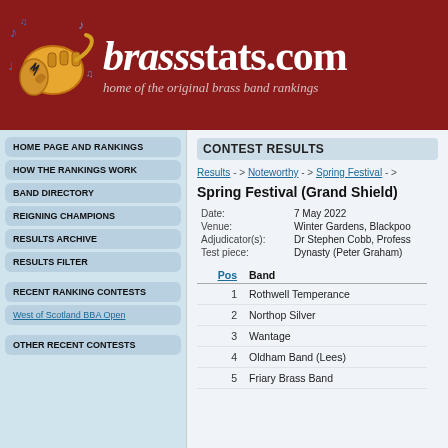[Figure (logo): brassstats.com logo with trumpet illustration on dark red background. Text reads 'brassstats.com - home of the original brass band rankings']
HOME PAGE AND RANKINGS
HOW THE RANKINGS WORK
BAND DIRECTORY
REIGNING CHAMPIONS
RESULTS ARCHIVE
RESULTS FILTER
RECENT RANKING CONTESTS
West of Scotland BBA Open
OTHER RECENT CONTESTS
CONTEST RESULTS
Results -> Noteworthy -> Spring Festival ->
Spring Festival (Grand Shield)
|  |  |
| --- | --- |
| Date: | 7 May 2022 |
| Venue: | Winter Gardens, Blackpool |
| Adjudicator(s): | Dr Stephen Cobb, Professor... |
| Test piece: | Dynasty (Peter Graham) |
| Pos | Band |
| --- | --- |
| 1 | Rothwell Temperance |
| 2 | Northop Silver |
| 3 | Wantage |
| 4 | Oldham Band (Lees) |
| 5 | Friary Brass Band |